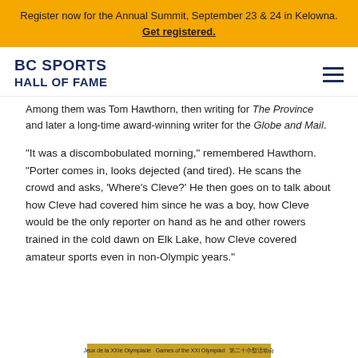Register now for the Annual Summit, September 23 & 24 in Kelowna. Get registered.
BC SPORTS HALL OF FAME
Among them was Tom Hawthorn, then writing for The Province and later a long-time award-winning writer for the Globe and Mail.
"It was a discombobulated morning," remembered Hawthorn. "Porter comes in, looks dejected (and tired). He scans the crowd and asks, ‘Where’s Cleve?’ He then goes on to talk about how Cleve had covered him since he was a boy, how Cleve would be the only reporter on hand as he and other rowers trained in the cold dawn on Elk Lake, how Cleve covered amateur sports even in non-Olympic years."
[Figure (other): Partial bottom strip showing text: Jeux de la XXIe Olympiade Games of the XXI Olympiad in gold/yellow bar]